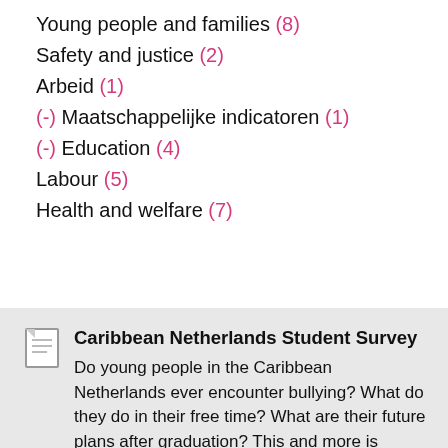Young people and families (8)
Safety and justice (2)
Arbeid (1)
(-) Maatschappelijke indicatoren (1)
(-) Education (4)
Labour (5)
Health and welfare (7)
Caribbean Netherlands Student Survey
Do young people in the Caribbean Netherlands ever encounter bullying? What do they do in their free time? What are their future plans after graduation? This and more is presented in the Caribbean Netherlands Student Survey, held for the first time at the end of 2020. The survey forms part of the National Youth Monitor, compiled by Statistics Netherlands (CBS) in